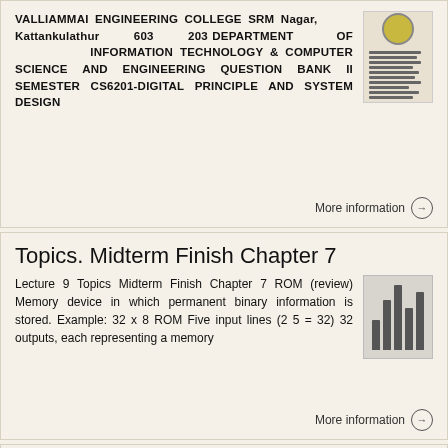VALLIAMMAI ENGINEERING COLLEGE SRM Nagar, Kattankulathur 603 203 DEPARTMENT OF INFORMATION TECHNOLOGY & COMPUTER SCIENCE AND ENGINEERING QUESTION BANK II SEMESTER CS6201-DIGITAL PRINCIPLE AND SYSTEM DESIGN
More information →
Topics. Midterm Finish Chapter 7
Lecture 9 Topics Midterm Finish Chapter 7 ROM (review) Memory device in which permanent binary information is stored. Example: 32 x 8 ROM Five input lines (2 5 = 32) 32 outputs, each representing a memory
More information →
1. Fill in the entries in the truth table below